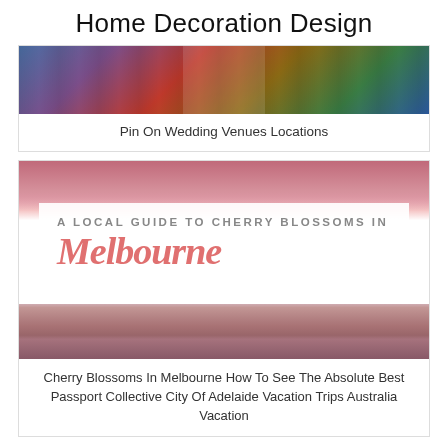Home Decoration Design
[Figure (photo): Ornate grand interior venue or library with colorful stained windows and staircases, viewed from above]
Pin On Wedding Venues Locations
[Figure (photo): Cherry blossoms in Melbourne promotional image with white overlay text box showing 'A LOCAL GUIDE TO CHERRY BLOSSOMS IN Melbourne' over pink blossom trees]
Cherry Blossoms In Melbourne How To See The Absolute Best Passport Collective City Of Adelaide Vacation Trips Australia Vacation